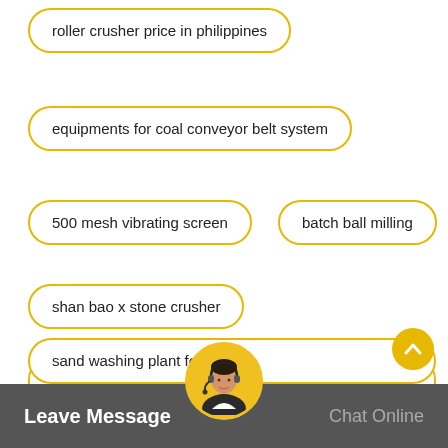roller crusher price in philippines
equipments for coal conveyor belt system
500 mesh vibrating screen
batch ball milling
shan bao x stone crusher
jaw crusher in Andhra pradesh crushing grinding machinery
sand washing plant for sa…
[Figure (illustration): Customer service representative avatar in a circular yellow frame]
[Figure (illustration): Yellow circular scroll-to-top button with upward chevron arrow]
Leave Message   Chat Online